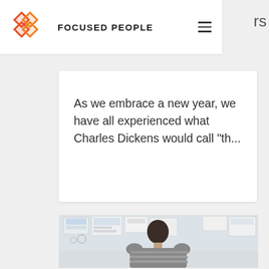FOCUSED PEOPLE
As we embrace a new year, we have all experienced what Charles Dickens would call "th...
[Figure (photo): A person viewed from behind, wearing a striped sweater, looking at a wall covered with notes, papers, sketches, and documents pinned up in an office planning setting.]